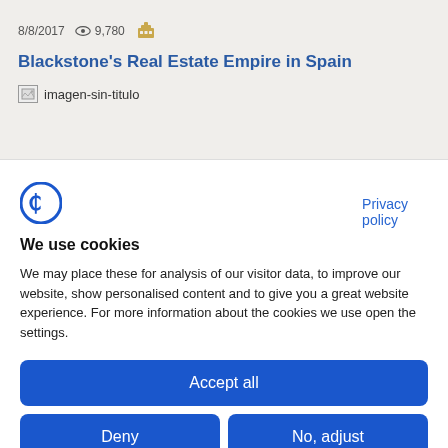8/8/2017  9,780
Blackstone's Real Estate Empire in Spain
[Figure (other): Broken image placeholder labeled 'imagen-sin-titulo']
Privacy policy
[Figure (logo): Cookiebot logo - circular C with line]
We use cookies
We may place these for analysis of our visitor data, to improve our website, show personalised content and to give you a great website experience. For more information about the cookies we use open the settings.
Accept all
Deny
No, adjust